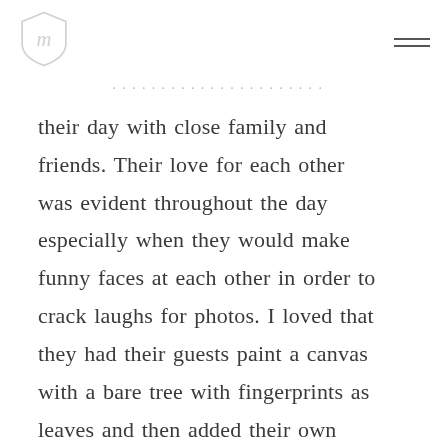[logo shield] [menu icon]
their day with close family and friends. Their love for each other was evident throughout the day especially when they would make funny faces at each other in order to crack laughs for photos. I loved that they had their guests paint a canvas with a bare tree with fingerprints as leaves and then added their own immediately after the ceremony. I